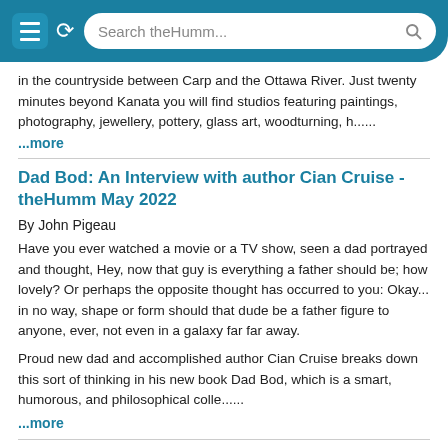Search theHumm...
in the countryside between Carp and the Ottawa River. Just twenty minutes beyond Kanata you will find studios featuring paintings, photography, jewellery, pottery, glass art, woodturning, h......
...more
Dad Bod: An Interview with author Cian Cruise - theHumm May 2022
By John Pigeau
Have you ever watched a movie or a TV show, seen a dad portrayed and thought, Hey, now that guy is everything a father should be; how lovely? Or perhaps the opposite thought has occurred to you: Okay... in no way, shape or form should that dude be a father figure to anyone, ever, not even in a galaxy far far away.
Proud new dad and accomplished author Cian Cruise breaks down this sort of thinking in his new book Dad Bod, which is a smart, humorous, and philosophical colle......
...more
Material Worldon the Mississippi